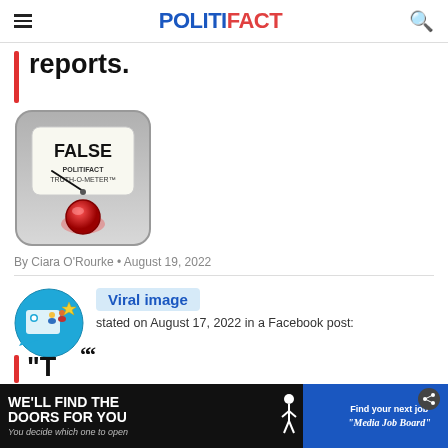POLITIFACT
reports.
[Figure (illustration): PolitiFact Truth-O-Meter gauge showing FALSE rating with a red button at the bottom]
By Ciara O'Rourke • August 19, 2022
[Figure (illustration): Circular icon with people figures on a blue background representing a viral image source]
Viral image
stated on August 17, 2022 in a Facebook post:
[Figure (illustration): Advertisement banner: WE'LL FIND THE DOORS FOR YOU / You decide which one to open | Find your next job / Media Job Board]